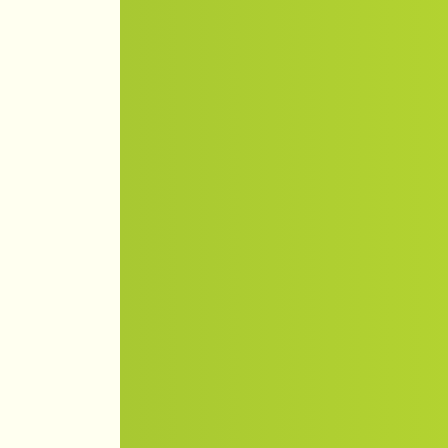[Figure (illustration): Yellow background on the left, green gradient bar in the center-left area]
08:24 Помидоры от Я. Видеокурс (2012)
08:24 Изготовление фотокниг в Photoshop простые способы. Видеокурс (2015) (0)
06:17 Власть факта. рождалась Перестройка (2015) SATRip (0)
05:54 Process Lasso 7.0.0.0 Final Repack Portable by D!akov (0)
05:39 Any DVD Con Professional 5.7.0 Re + Portable by D!akov
05:23 Start Menu Rev